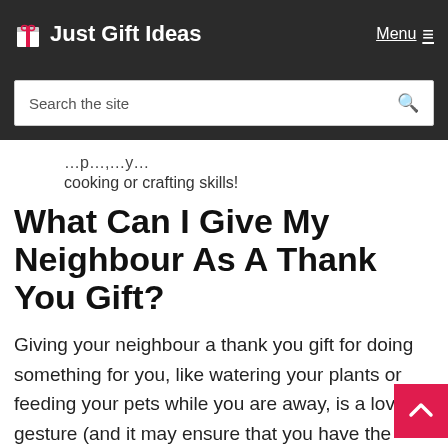Just Gift Ideas | Menu
Search the site
cooking or crafting skills!
What Can I Give My Neighbour As A Thank You Gift?
Giving your neighbour a thank you gift for doing something for you, like watering your plants or feeding your pets while you are away, is a lovely gesture (and it may ensure that you have the services in the future too!)